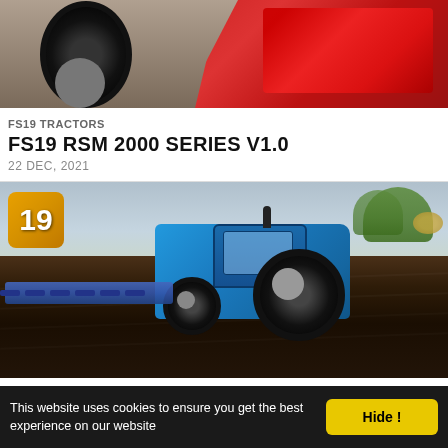[Figure (screenshot): Farming Simulator 19 screenshot showing a red combine harvester/machinery from above, partial view at top of page]
FS19 TRACTORS
FS19 RSM 2000 SERIES V1.0
22 DEC, 2021
[Figure (screenshot): Farming Simulator 19 screenshot showing a blue MTZ tractor plowing dark soil field, with FS19 orange badge in top-left corner, trees visible in background]
FS19 TRACTORS
FS19 MTZ 892 V1.0
This website uses cookies to ensure you get the best experience on our website